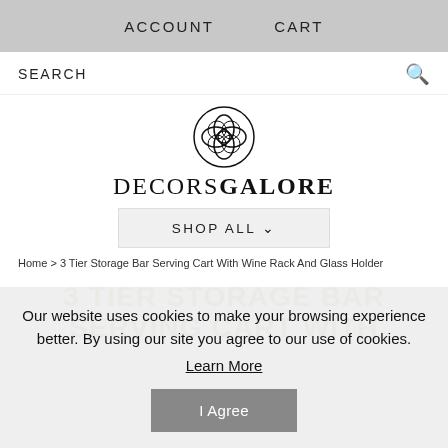ACCOUNT   CART
SEARCH
[Figure (logo): DecorsGalore decorative knot logo above the brand name DECORSGALORE]
SHOP ALL ∨
Home > 3 Tier Storage Bar Serving Cart With Wine Rack And Glass Holder
3 TIER STORAGE BAR SERVING CART WITH
Our website uses cookies to make your browsing experience better. By using our site you agree to our use of cookies. Learn More I Agree